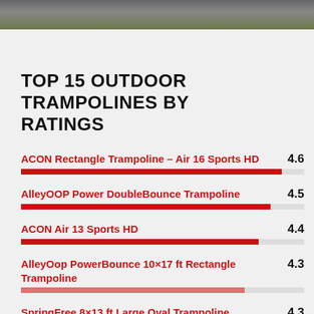[Figure (photo): Partial outdoor trampoline photo strip at top of page]
TOP 15 OUTDOOR TRAMPOLINES BY RATINGS
ACON Rectangle Trampoline – Air 16 Sports HD  4.6
AlleyOOP Power DoubleBounce Trampoline  4.5
ACON Air 13 Sports HD  4.4
AlleyOop PowerBounce 10×17 ft Rectangle Trampoline  4.3
SpringFree 8×13 ft Large Oval Trampoline  4.3